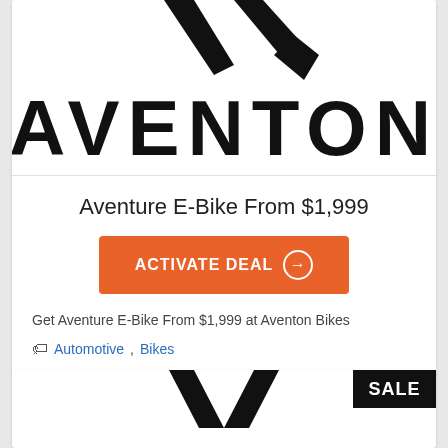[Figure (logo): Aventon brand logo — large 'AVENTON' wordmark in bold black uppercase letters with a stylized arrow/chevron mark above]
Aventure E-Bike From $1,999
[Figure (other): Orange 'ACTIVATE DEAL' button with arrow circle icon]
Get Aventure E-Bike From $1,999 at Aventon Bikes
Automotive, Bikes
[Figure (logo): Aventon logo bottom — partial stylized A chevron mark visible, SALE badge in top-right corner]